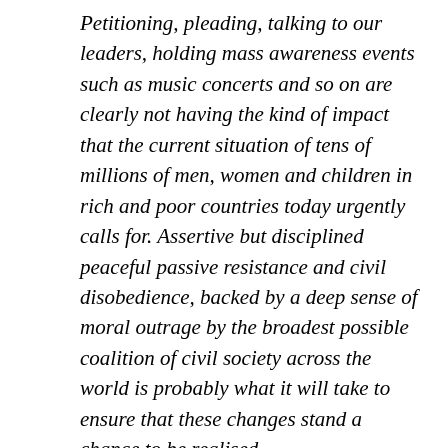Petitioning, pleading, talking to our leaders, holding mass awareness events such as music concerts and so on are clearly not having the kind of impact that the current situation of tens of millions of men, women and children in rich and poor countries today urgently calls for. Assertive but disciplined peaceful passive resistance and civil disobedience, backed by a deep sense of moral outrage by the broadest possible coalition of civil society across the world is probably what it will take to ensure that these changes stand a chance to be realised.
On returning to Johannesburg Kumi and other like-minded individuals spearheaded the Save Zimbabwe Now campaign. On Jan 21st he